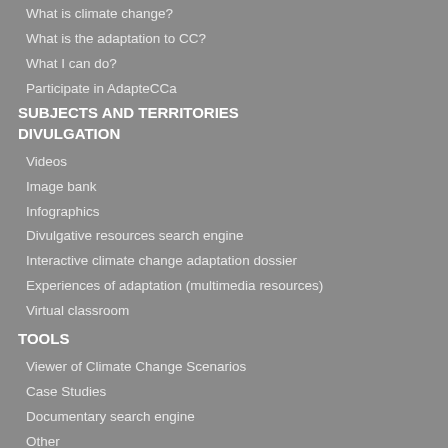What is climate change?
What is the adaptation to CC?
What I can do?
Participate in AdapteCCa
SUBJECTS AND TERRITORIES
DIVULGATION
Videos
Image bank
Infographics
Divulgative resources search engine
Interactive climate change adaptation dossier
Experiences of adaptation (multimedia resources)
Virtual classroom
TOOLS
Viewer of Climate Change Scenarios
Case Studies
Documentary search engine
Other
PARTICIPATE IN ADAPTECCA